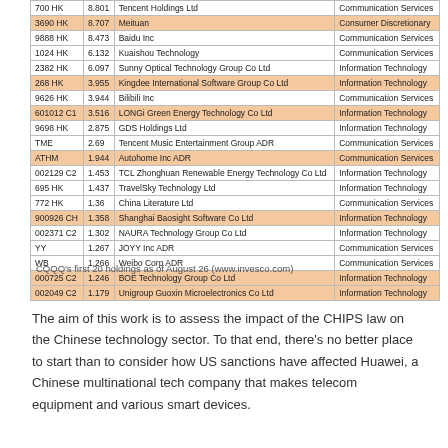|  |  | Name | Sector |
| --- | --- | --- | --- |
| 700 HK | 8.801 | Tencent Holdings Ltd | Communication Services |
| 3690 HK | 8.707 | Meituan | Consumer Discretionary |
| 9888 HK | 8.473 | Baidu Inc | Communication Services |
| 1024 HK | 6.132 | Kuaishou Technology | Communication Services |
| 2382 HK | 6.097 | Sunny Optical Technology Group Co Ltd | Information Technology |
| 268 HK | 3.955 | Kingdee International Software Group Co Ltd | Information Technology |
| 9626 HK | 3.944 | Bilibili Inc | Communication Services |
| 601012 C1 | 3.516 | LONGi Green Energy Technology Co Ltd | Information Technology |
| 9698 HK | 2.875 | GDS Holdings Ltd | Information Technology |
| TME | 2.69 | Tencent Music Entertainment Group ADR | Communication Services |
| ATHM | 1.944 | Autohome Inc ADR | Communication Services |
| 002129 C2 | 1.453 | TCL Zhonghuan Renewable Energy Technology Co Ltd | Information Technology |
| 695 HK | 1.437 | TravelSky Technology Ltd | Information Technology |
| 772 HK | 1.36 | China Literature Ltd | Communication Services |
| 900926 CH | 1.358 | Shanghai Baosight Software Co Ltd | Information Technology |
| 002371 C2 | 1.302 | NAURA Technology Group Co Ltd | Information Technology |
| YY | 1.267 | JOYY Inc ADR | Communication Services |
| WB | 1.266 | Weibo Corp ADR | Communication Services |
| 000725 C2 | 1.246 | BOE Technology Group Co Ltd | Information Technology |
| 002049 C2 | 1.179 | Unigroup Guoxin Microelectronics Co Ltd | Information Technology |
CQQQ's first 20 holdings as of August 26 (www.invesco.com)
The aim of this work is to assess the impact of the CHIPS law on the Chinese technology sector. To that end, there's no better place to start than to consider how US sanctions have affected Huawei, a Chinese multinational tech company that makes telecom equipment and various smart devices.